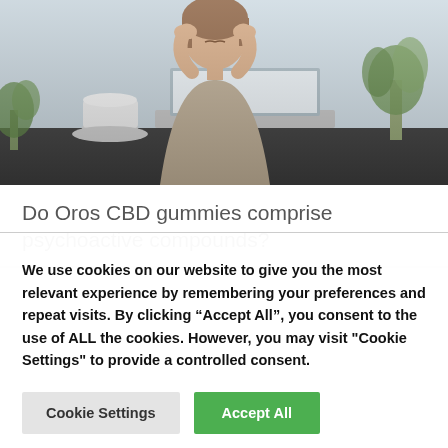[Figure (photo): Woman sitting at a desk with a laptop, holding her hands to her temples in a stressed/headache pose. A coffee cup and plant are visible in the background.]
Do Oros CBD gummies comprise psychoactive compounds?
We use cookies on our website to give you the most relevant experience by remembering your preferences and repeat visits. By clicking “Accept All”, you consent to the use of ALL the cookies. However, you may visit "Cookie Settings" to provide a controlled consent.
Cookie Settings
Accept All